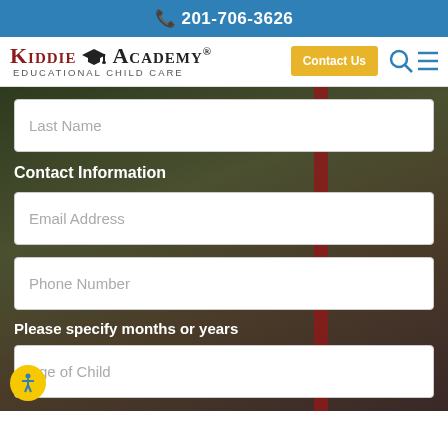📞 201-706-3626
[Figure (logo): Kiddie Academy Educational Child Care logo with graduation cap icon]
Contact Us
Last Name
Contact Information
Email Address
Phone Number
Please specify months or years
Age of Child